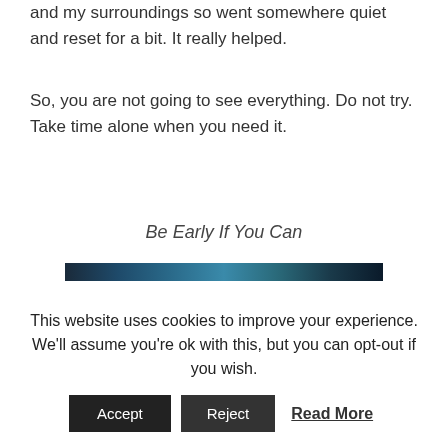and my surroundings so went somewhere quiet and reset for a bit. It really helped.
So, you are not going to see everything. Do not try. Take time alone when you need it.
Be Early If You Can
[Figure (photo): Dark bluish image, partially visible at top of page]
This website uses cookies to improve your experience. We'll assume you're ok with this, but you can opt-out if you wish.
Accept   Reject   Read More